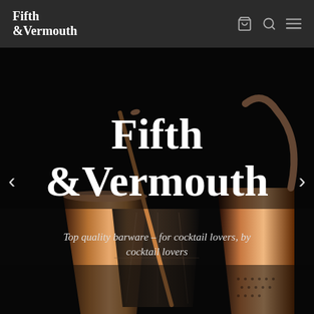Fifth &Vermouth
[Figure (photo): Dark hero image of copper/rose-gold cocktail barware tools — a mixing glass, bar spoon, and strainer — against a near-black background, with large white serif brand name overlay and tagline below]
Fifth &Vermouth
Top quality barware – for cocktail lovers, by cocktail lovers